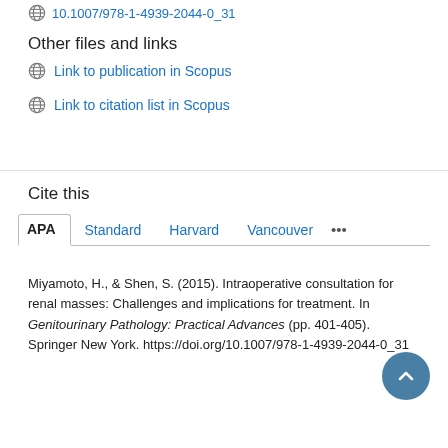10.1007/978-1-4939-2044-0_31
Other files and links
Link to publication in Scopus
Link to citation list in Scopus
Cite this
APA | Standard | Harvard | Vancouver | ...
Miyamoto, H., & Shen, S. (2015). Intraoperative consultation for renal masses: Challenges and implications for treatment. In Genitourinary Pathology: Practical Advances (pp. 401-405). Springer New York. https://doi.org/10.1007/978-1-4939-2044-0_31